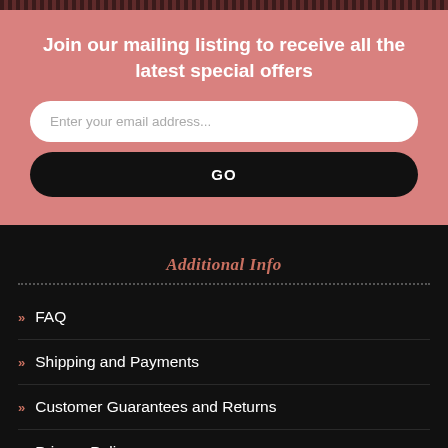Join our mailing listing to receive all the latest special offers
Additional Info
FAQ
Shipping and Payments
Customer Guarantees and Returns
Privacy Policy